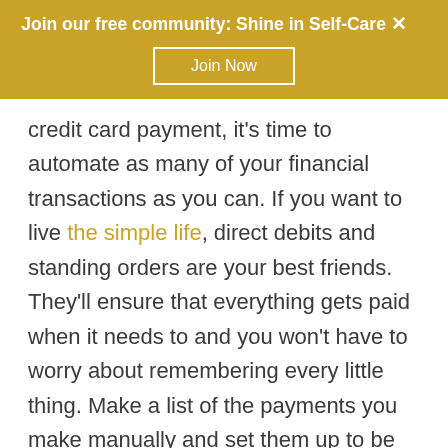Join our free community: Shine in Self-Care ×
Join Now
credit card payment, it's time to automate as many of your financial transactions as you can. If you want to live the simple life, direct debits and standing orders are your best friends. They'll ensure that everything gets paid when it needs to and you won't have to worry about remembering every little thing. Make a list of the payments you make manually and set them up to be paid as direct debit or standing order on dates that make sense to you. One less thing to think about.